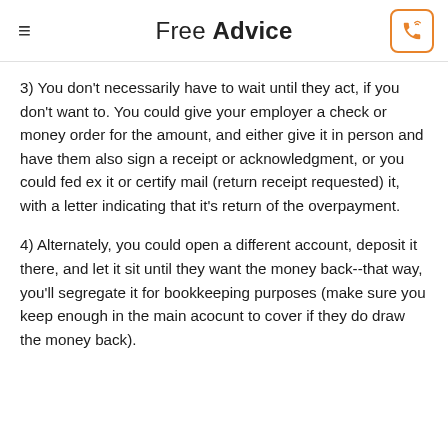Free Advice
3) You don't necessarily have to wait until they act, if you don't want to. You could give your employer a check or money order for the amount, and either give it in person and have them also sign a receipt or acknowledgment, or you could fed ex it or certify mail (return receipt requested) it, with a letter indicating that it's return of the overpayment.
4) Alternately, you could open a different account, deposit it there, and let it sit until they want the money back--that way, you'll segregate it for bookkeeping purposes (make sure you keep enough in the main acocunt to cover if they do draw the money back).